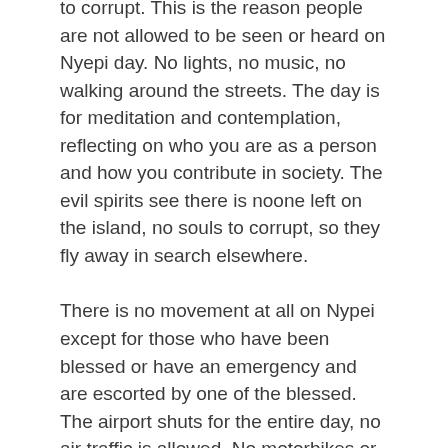to corrupt. This is the reason people are not allowed to be seen or heard on Nyepi day. No lights, no music, no walking around the streets. The day is for meditation and contemplation, reflecting on who you are as a person and how you contribute in society. The evil spirits see there is noone left on the island, no souls to corrupt, so they fly away in search elsewhere.
There is no movement at all on Nypei except for those who have been blessed or have an emergency and are escorted by one of the blessed. The airport shuts for the entire day, no air traffic is allowed. No motorbikes or cars, no pedestrians, no internet, no radio, no television. To some tourists it sounds quite daunting, especially if it is not explained why this is occuring.